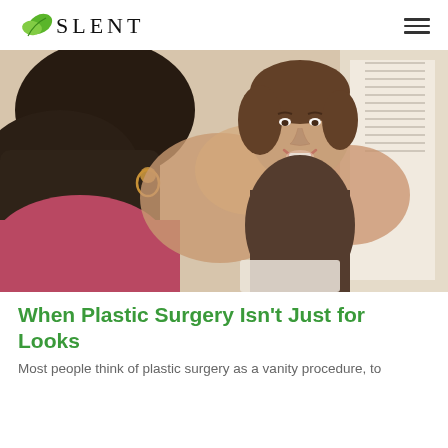SLENT
[Figure (photo): Two women sitting across from each other at a table near a window, engaged in conversation. The woman in the foreground has her back to the camera with dark curly hair and a hoop earring. The woman facing the camera has brown wavy hair pinned up and is smiling, wearing a dark top, with her hands raised in a gesturing motion.]
When Plastic Surgery Isn't Just for Looks
Most people think of plastic surgery as a vanity procedure, to